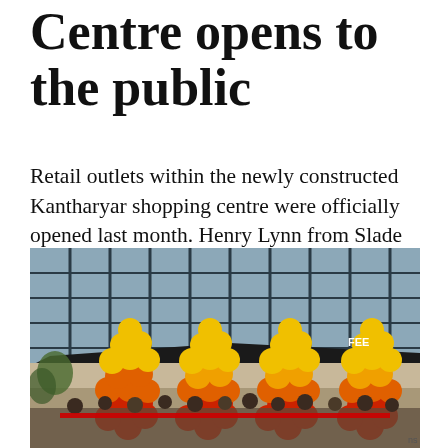Centre opens to the public
Retail outlets within the newly constructed Kantharyar shopping centre were officially opened last month. Henry Lynn from Slade Property Services was among those to report on the ceremony.
[Figure (photo): Outdoor photo of the Kantharyar shopping centre opening ceremony. Large balloon columns in red, orange, and yellow are arranged in front of a modern glass-facade building. A crowd of people stands in front holding a red ribbon.]